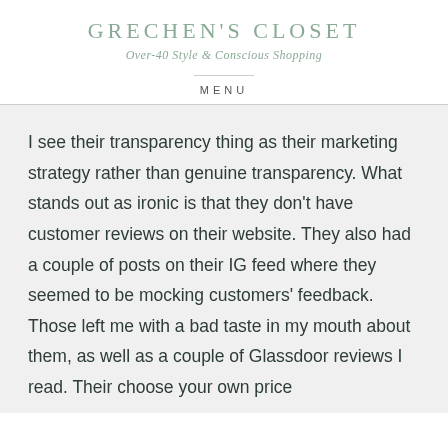GRECHEN'S CLOSET
Over-40 Style & Conscious Shopping
MENU
I see their transparency thing as their marketing strategy rather than genuine transparency. What stands out as ironic is that they don't have customer reviews on their website. They also had a couple of posts on their IG feed where they seemed to be mocking customers' feedback. Those left me with a bad taste in my mouth about them, as well as a couple of Glassdoor reviews I read. Their choose your own price